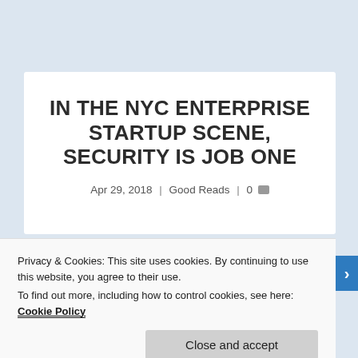IN THE NYC ENTERPRISE STARTUP SCENE, SECURITY IS JOB ONE
Apr 29, 2018 | Good Reads | 0
Privacy & Cookies: This site uses cookies. By continuing to use this website, you agree to their use.
To find out more, including how to control cookies, see here: Cookie Policy
Close and accept
[Figure (photo): Black and white photo strip visible at bottom of article card]